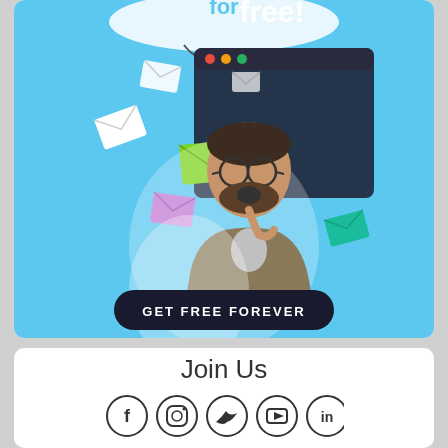[Figure (illustration): Advertisement banner with light blue background showing a surprised man with glasses and beard touching his chin, surrounded by floating email envelope icons in white, green, and purple. A browser window frame is visible at top. A dark rounded button reads 'GET FREE FOREVER'. Text at top reads 'for free!'.]
Join Us
[Figure (other): Row of five social media icons in circular outline style: Facebook (f), Instagram (camera), Twitter (bird), YouTube (play button), LinkedIn (in)]